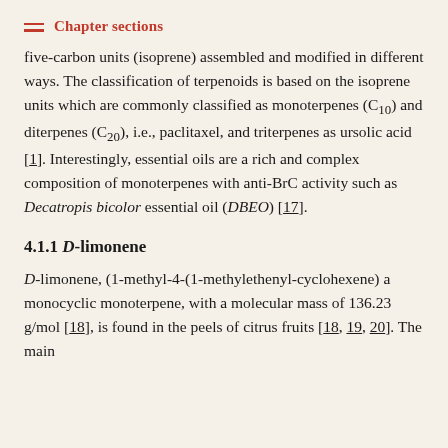Chapter sections
five-carbon units (isoprene) assembled and modified in different ways. The classification of terpenoids is based on the isoprene units which are commonly classified as monoterpenes (C10) and diterpenes (C20), i.e., paclitaxel, and triterpenes as ursolic acid [1]. Interestingly, essential oils are a rich and complex composition of monoterpenes with anti-BrC activity such as Decatropis bicolor essential oil (DBEO) [17].
4.1.1 D-limonene
D-limonene, (1-methyl-4-(1-methylethenyl-cyclohexene) a monocyclic monoterpene, with a molecular mass of 136.23 g/mol [18], is found in the peels of citrus fruits [18, 19, 20]. The main